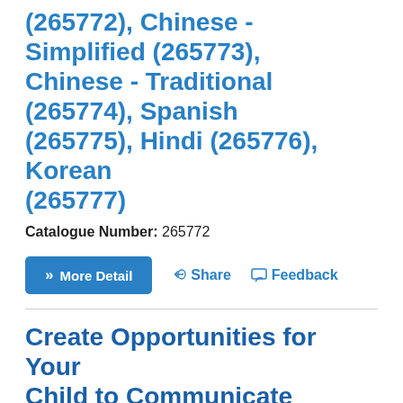(265772), Chinese - Simplified (265773), Chinese - Traditional (265774), Spanish (265775), Hindi (265776), Korean (265777)
Catalogue Number: 265772
» More Detail   🔗 Share   💬 Feedback
Create Opportunities for Your Child to Communicate (Fraser Health) [Chinese - Simplified]
Permalink  Public
Children are more likely to communicate
[Figure (illustration): Thumbnail image of the Chinese Simplified brochure titled 'Create Opportunities for Your Child to Communicate (Fraser Health)' with blue and orange diagonal banner elements, Fraser Health logo, Chinese text, and a brown/tan image at the bottom.]